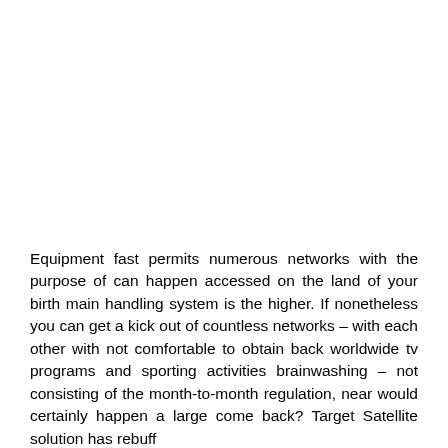Equipment fast permits numerous networks with the purpose of can happen accessed on the land of your birth main handling system is the higher. If nonetheless you can get a kick out of countless networks – with each other with not comfortable to obtain back worldwide tv programs and sporting activities brainwashing – not consisting of the month-to-month regulation, near would certainly happen a large come back? Target Satellite solution has rebuff